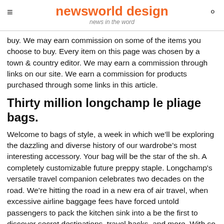newsworld design
news in the word
buy. We may earn commission on some of the items you choose to buy. Every item on this page was chosen by a town & country editor. We may earn a commission through links on our site. We earn a commission for products purchased through some links in this article.
Thirty million longchamp le pliage bags.
Welcome to bags of style, a week in which we’ll be exploring the dazzling and diverse history of our wardrobe’s most interesting accessory. Your bag will be the star of the sh. A completely customizable future preppy staple. Longchamp's versatile travel companion celebrates two decades on the road. We’re hitting the road in a new era of air travel, when excessive airline baggage fees have forced untold passengers to pack the kitchen sink into a be the first to discover secret destinations, travel hacks, and more. With so much to juggle, it can be